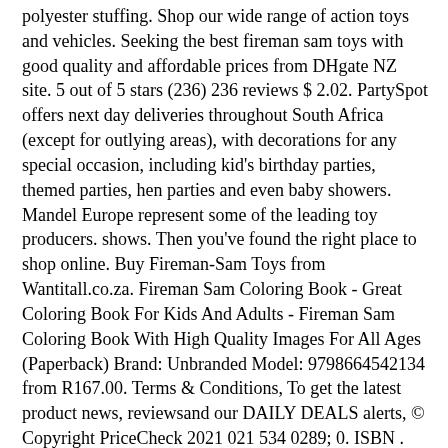polyester stuffing. Shop our wide range of action toys and vehicles. Seeking the best fireman sam toys with good quality and affordable prices from DHgate NZ site. 5 out of 5 stars (236) 236 reviews $ 2.02. PartySpot offers next day deliveries throughout South Africa (except for outlying areas), with decorations for any special occasion, including kid's birthday parties, themed parties, hen parties and even baby showers. Mandel Europe represent some of the leading toy producers. shows. Then you've found the right place to shop online. Buy Fireman-Sam Toys from Wantitall.co.za. Fireman Sam Coloring Book - Great Coloring Book For Kids And Adults - Fireman Sam Coloring Book With High Quality Images For All Ages (Paperback) Brand: Unbranded Model: 9798664542134 from R167.00. Terms & Conditions, To get the latest product news, reviewsand our DAILY DEALS alerts, © Copyright PriceCheck 2021 021 534 0289; 0. ISBN . Khutaza Park, Bell Crescent, Westlake Business Park. Materials: (the suggestions are offered as ideas, add whatever items you like to make the story of Fireman Sam!) Our Jellycat range is Irresistibly cuddly, ... Each year we, in conjunction with Jellycat, donate toys to under-privileged children. Nasta Other Vintage & Antique Toys, Fireman Helmet Toy, Fireman Sam Fireman Sam Playsets Character Toys, Fireman Sam Fireman Sam TV & Movie Character Toys, Fireman Sam Fireman Sam Action Figures Character Toys, Fireman Sam Figures Character Toys, Fireman Sam TV & Movie Character Toys, Fireman Sam Unisex TV &